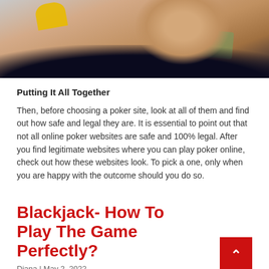[Figure (photo): Cropped photo showing a hand holding money/cards against a dark curved background with yellow decorative element]
Putting It All Together
Then, before choosing a poker site, look at all of them and find out how safe and legal they are. It is essential to point out that not all online poker websites are safe and 100% legal. After you find legitimate websites where you can play poker online, check out how these websites look. To pick a one, only when you are happy with the outcome should you do so.
Blackjack- How To Play The Game Perfectly?
Diana | May 2, 2022